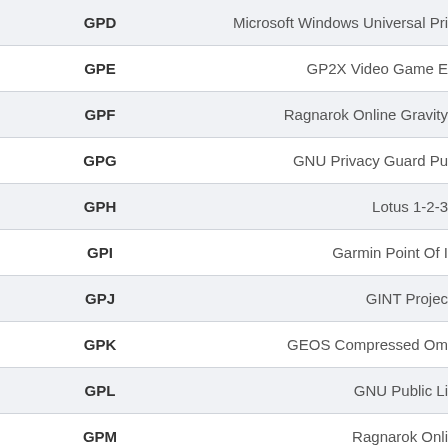| Extension | Description |
| --- | --- |
| GPD | Microsoft Windows Universal Pri… |
| GPE | GP2X Video Game E… |
| GPF | Ragnarok Online Gravity… |
| GPG | GNU Privacy Guard Pu… |
| GPH | Lotus 1-2-3… |
| GPI | Garmin Point Of I… |
| GPJ | GINT Projec… |
| GPK | GEOS Compressed Om… |
| GPL | GNU Public Li… |
| GPM | Ragnarok Onli… |
| GPN | GlidePlan Map Do… |
| GPP | Serif GraphicsPlus… |
| GPR | GenePix Resu… |